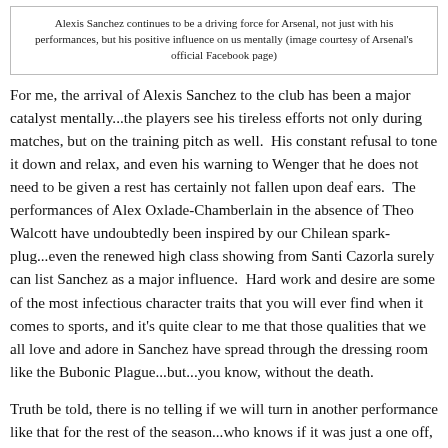Alexis Sanchez continues to be a driving force for Arsenal, not just with his performances, but his positive influence on us mentally (image courtesy of Arsenal's official Facebook page)
For me, the arrival of Alexis Sanchez to the club has been a major catalyst mentally...the players see his tireless efforts not only during matches, but on the training pitch as well. His constant refusal to tone it down and relax, and even his warning to Wenger that he does not need to be given a rest has certainly not fallen upon deaf ears. The performances of Alex Oxlade-Chamberlain in the absence of Theo Walcott have undoubtedly been inspired by our Chilean spark-plug...even the renewed high class showing from Santi Cazorla surely can list Sanchez as a major influence. Hard work and desire are some of the most infectious character traits that you will ever find when it comes to sports, and it's quite clear to me that those qualities that we all love and adore in Sanchez have spread through the dressing room like the Bubonic Plague...but...you know, without the death.
Truth be told, there is no telling if we will turn in another performance like that for the rest of the season...who knows if it was just a one off, but I think it's important to take away